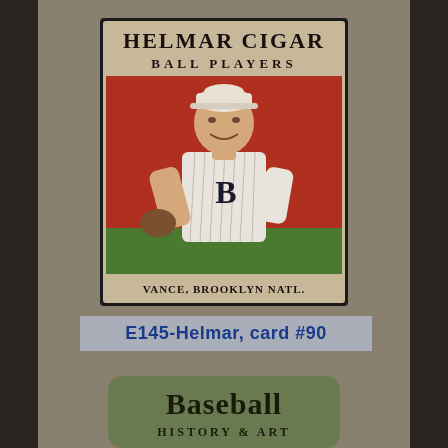[Figure (illustration): Vintage Helmar Cigar Ball Players baseball card #90 showing Vance, Brooklyn Natl. Player in white pinstripe uniform with 'B' on chest, smiling, posed in fielding stance. Red background with green grass at bottom. Text at top reads 'HELMAR CIGAR BALL PLAYERS'. Player name 'VANCE, BROOKLYN NATL.' at bottom of card.]
E145-Helmar, card #90
[Figure (logo): Baseball History & Art logo — partial view, green rounded rectangle with 'Baseball' in large serif font and 'HISTORY & ART' below in smaller text.]